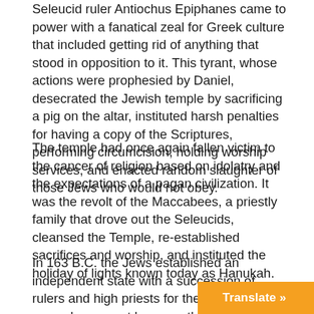Seleucid ruler Antiochus Epiphanes came to power with a fanatical zeal for Greek culture that included getting rid of anything that stood in opposition to it. This tyrant, whose actions were prophesied by Daniel, desecrated the Jewish temple by sacrificing a pig on the altar, instituted harsh penalties for having a copy of the Scriptures, performing circumcision, holding worship services, and enacted random slaughter of those Jews who would not obey.
The temple had once again fallen victim to the cancer of religion based on idolatry and the expectations of a pagan civilization. It was the revolt of the Maccabees, a priestly family that drove out the Seleucids, cleansed the Temple, re-established sacrifices and worship, and instituted the holiday of lights known today as Hanukah.
In 163 B.C. the Jews established an independent state with a succession of rulers and high priests for the Temple who were chosen, not because they were descendants of Aaron, but by favoritism, bribery, and treachery in a power grab that marred the purpose of genuine worsh...